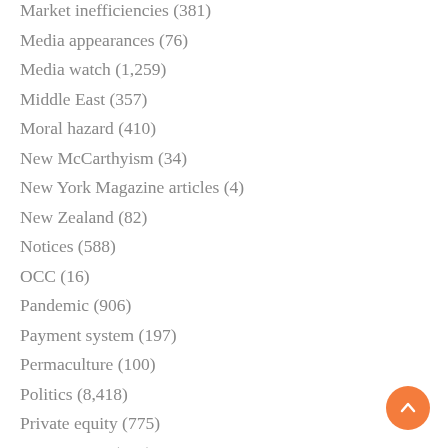Market inefficiencies (381)
Media appearances (76)
Media watch (1,259)
Middle East (357)
Moral hazard (410)
New McCarthyism (34)
New York Magazine articles (4)
New Zealand (82)
Notices (588)
OCC (16)
Pandemic (906)
Payment system (197)
Permaculture (100)
Politics (8,418)
Private equity (775)
Privatization (212)
Real estate (1,683)